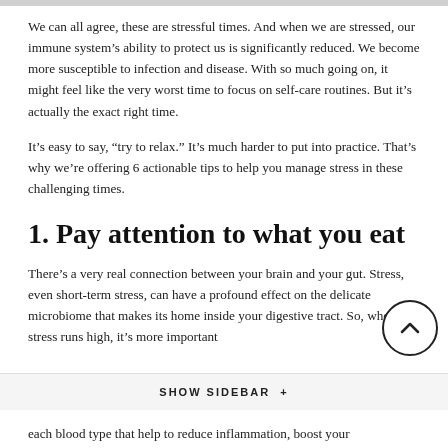We can all agree, these are stressful times. And when we are stressed, our immune system’s ability to protect us is significantly reduced. We become more susceptible to infection and disease. With so much going on, it might feel like the very worst time to focus on self-care routines. But it’s actually the exact right time.
It’s easy to say, “try to relax.” It’s much harder to put into practice. That’s why we’re offering 6 actionable tips to help you manage stress in these challenging times.
1. Pay attention to what you eat
There’s a very real connection between your brain and your gut. Stress, even short-term stress, can have a profound effect on the delicate microbiome that makes its home inside your digestive tract. So, when stress runs high, it’s more important
SHOW SIDEBAR +
each blood type that help to reduce inflammation, boost your